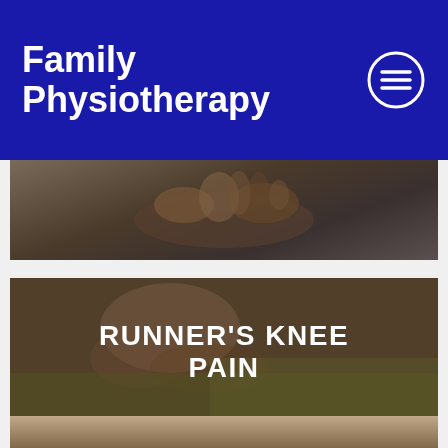Family Physiotherapy
[Figure (photo): Close-up photo of hands performing physiotherapy treatment]
[Figure (photo): Photo of a runner holding their knee in pain on grass, with text overlay RUNNER'S KNEE PAIN]
[Figure (photo): Partial photo at bottom of page, person visible from shoulders up]